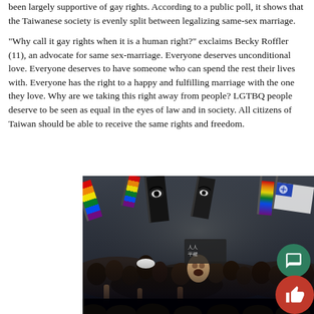been largely supportive of gay rights. According to a public poll, it shows that the Taiwanese society is evenly split between legalizing same-sex marriage.
“Why call it gay rights when it is a human right?” exclaims Becky Roffler (11), an advocate for same sex-marriage. Everyone deserves unconditional love. Everyone deserves to have someone who can spend the rest their lives with. Everyone has the right to a happy and fulfilling marriage with the one they love. Why are we taking this right away from people? LGTBQ people deserve to be seen as equal in the eyes of law and in society. All citizens of Taiwan should be able to receive the same rights and freedom.
[Figure (photo): A large crowd of people waving rainbow pride flags and dark flags with eye logos at what appears to be a LGBTQ rights rally in Taiwan. People are cheering, some with mouths open. Rainbow flags are visible throughout the crowd.]